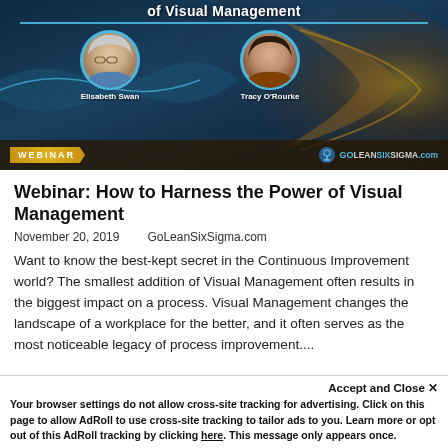[Figure (illustration): Webinar banner image showing two circular portrait photos of Elisabeth Swan and Tracy O'Rourke against an ocean wave background, with 'of Visual Management' text at top, a WEBINAR badge in gold on the left and GoLeanSixSigma.com logo on the right at the bottom of the banner.]
Webinar: How to Harness the Power of Visual Management
November 20, 2019    GoLeanSixSigma.com
Want to know the best-kept secret in the Continuous Improvement world? The smallest addition of Visual Management often results in the biggest impact on a process. Visual Management changes the landscape of a workplace for the better, and it often serves as the most noticeable legacy of process improvement....
Accept and Close ✕
Your browser settings do not allow cross-site tracking for advertising. Click on this page to allow AdRoll to use cross-site tracking to tailor ads to you. Learn more or opt out of this AdRoll tracking by clicking here. This message only appears once.